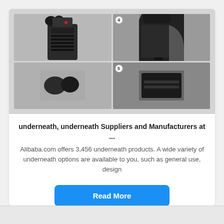[Figure (photo): Product images of tactical/bulletproof vest shown in a 2x2 grid: front view of black tactical vest with MOLLE webbing, close-up of vest shoulder/side detail, partial bottom view, and another detail view with number label.]
underneath, underneath Suppliers and Manufacturers at ...
Alibaba.com offers 3,456 underneath products. A wide variety of underneath options are available to you, such as general use, design
Read More